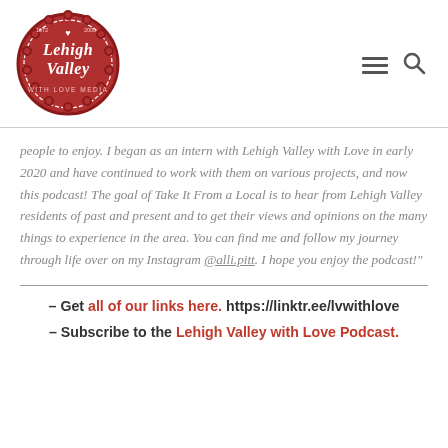[Figure (logo): Lehigh Valley with Love Media circular red stamp logo]
people to enjoy. I began as an intern with Lehigh Valley with Love in early 2020 and have continued to work with them on various projects, and now this podcast! The goal of Take It From a Local is to hear from Lehigh Valley residents of past and present and to get their views and opinions on the many things to experience in the area. You can find me and follow my journey through life over on my Instagram @alli.pitt. I hope you enjoy the podcast!"
– Get all of our links here. https://linktr.ee/lvwithlove
– Subscribe to the Lehigh Valley with Love Podcast.